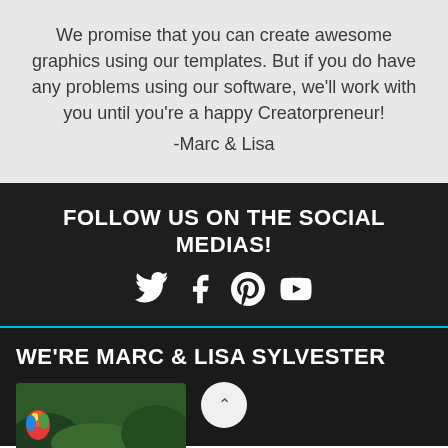We promise that you can create awesome graphics using our templates. But if you do have any problems using our software, we'll work with you until you're a happy Creatorpreneur!
-Marc & Lisa
FOLLOW US ON THE SOCIAL MEDIAS!
[Figure (other): Social media icons: Twitter, Facebook, Pinterest, YouTube]
WE'RE MARC & LISA SYLVESTER
[Figure (photo): Photo of Marc and Lisa Sylvester outdoors with greenery background, with a colorful parrot visible]